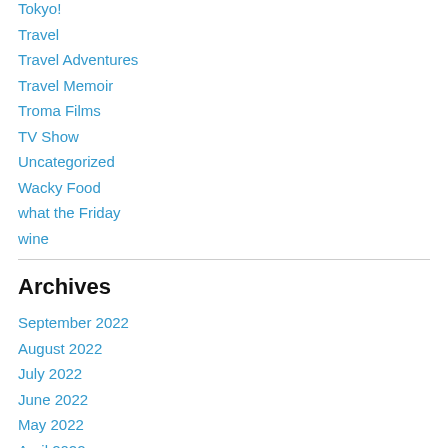Tokyo!
Travel
Travel Adventures
Travel Memoir
Troma Films
TV Show
Uncategorized
Wacky Food
what the Friday
wine
Archives
September 2022
August 2022
July 2022
June 2022
May 2022
April 2022